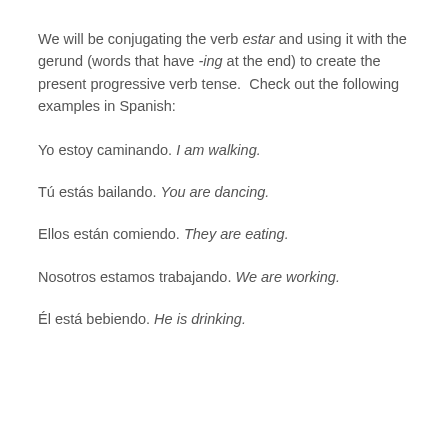We will be conjugating the verb estar and using it with the gerund (words that have -ing at the end) to create the present progressive verb tense.  Check out the following examples in Spanish:
Yo estoy caminando. I am walking.
Tú estás bailando. You are dancing.
Ellos están comiendo. They are eating.
Nosotros estamos trabajando. We are working.
Él está bebiendo. He is drinking.